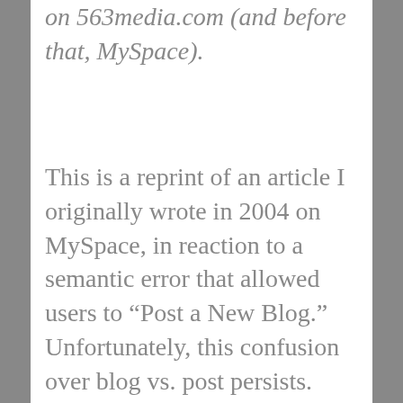on 563media.com (and before that, MySpace).
This is a reprint of an article I originally wrote in 2004 on MySpace, in reaction to a semantic error that allowed users to “Post a New Blog.” Unfortunately, this confusion over blog vs. post persists. Today, hundreds of thousands of people incorrectly refer to their individual blog entries as “blogs” instead of “posts,” a semantic error which is like nails on a chalkboard to